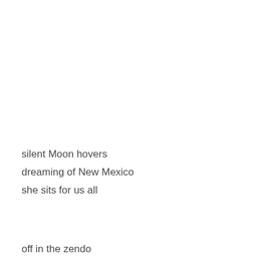silent Moon hovers
dreaming of New Mexico
she sits for us all
off in the zendo